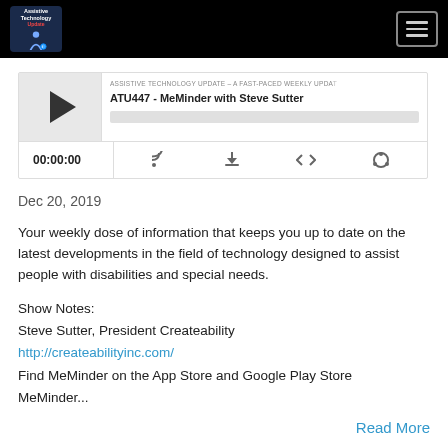Assistive Technology Update
[Figure (screenshot): Podcast player widget for ATU447 - MeMinder with Steve Sutter, showing play button, episode title, progress bar, timestamp 00:00:00, and control icons (RSS, download, embed, share)]
Dec 20, 2019
Your weekly dose of information that keeps you up to date on the latest developments in the field of technology designed to assist people with disabilities and special needs.
Show Notes:
Steve Sutter, President Createability
http://createabilityinc.com/
Find MeMinder on the App Store and Google Play Store
MeMinder...
Read More